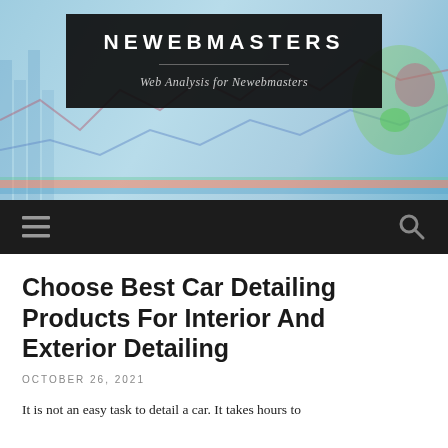[Figure (screenshot): Website header banner with dark overlay box containing site title NEWEBMASTERS, a horizontal divider line, and subtitle 'Web Analysis for Newebmasters'. Background shows financial charts and a chameleon illustration.]
NEWEBMASTERS
Web Analysis for Newebmasters
[Figure (other): Dark navigation bar with hamburger menu icon on the left and search magnifying glass icon on the right]
Choose Best Car Detailing Products For Interior And Exterior Detailing
OCTOBER 26, 2021
It is not an easy task to detail a car. It takes hours to